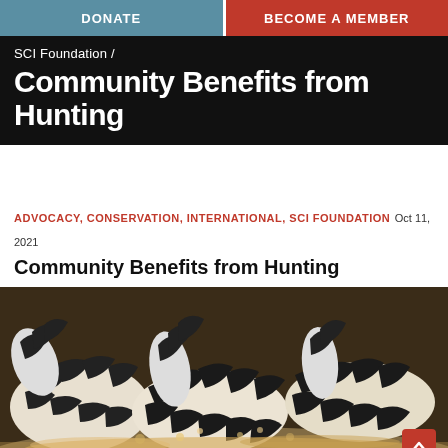DONATE | BECOME A MEMBER
SCI Foundation /
Community Benefits from Hunting
ADVOCACY, CONSERVATION, INTERNATIONAL, SCI FOUNDATION Oct 11, 2021
Community Benefits from Hunting
[Figure (photo): A herd of zebras running through water or dust, showing their distinctive black and white stripes. Multiple zebras visible, dynamic action shot.]